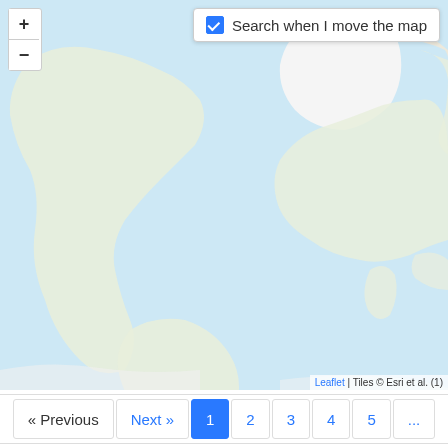[Figure (map): World map shown in a Leaflet/Esri tile web map interface, with light blue oceans and pale green/white landmasses. Zoom controls (+/-) in top-left. 'Search when I move the map' checkbox in top-right. Attribution bottom-right: 'Leaflet | Tiles © Esri et al. (1)']
Leaflet | Tiles © Esri et al. (1)
« Previous  Next »  1  2  3  4  5  ...